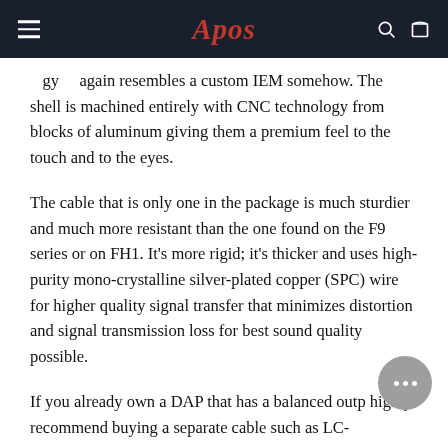Apos
again resembles a custom IEM somehow. The shell is machined entirely with CNC technology from blocks of aluminum giving them a premium feel to the touch and to the eyes.
The cable that is only one in the package is much sturdier and much more resistant than the one found on the F9 series or on FH1. It's more rigid; it's thicker and uses high-purity mono-crystalline silver-plated copper (SPC) wire for higher quality signal transfer that minimizes distortion and signal transmission loss for best sound quality possible.
If you already own a DAP that has a balanced outp highly recommend buying a separate cable such as LC-